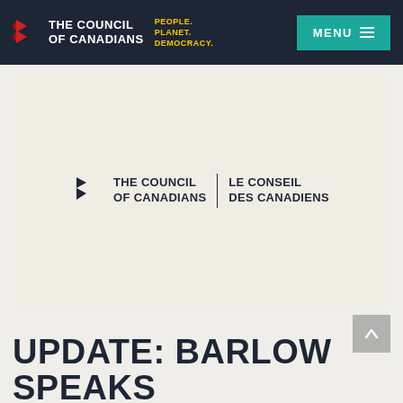THE COUNCIL OF CANADIANS | PEOPLE. PLANET. DEMOCRACY. | MENU
[Figure (logo): The Council of Canadians bilingual logo on a cream/off-white textured background. Shows a red arrow/chevron icon with text 'THE COUNCIL OF CANADIANS | LE CONSEIL DES CANADIENS' in dark navy.]
UPDATE: BARLOW SPEAKS